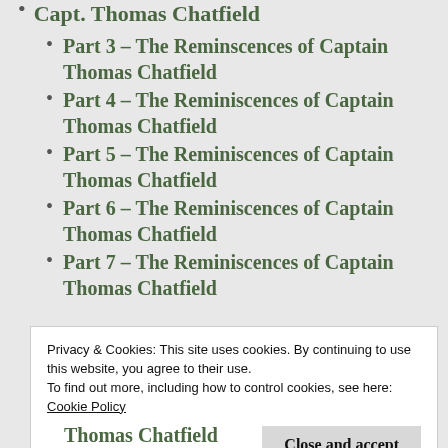Capt. Thomas Chatfield
Part 3 – The Reminscences of Captain Thomas Chatfield
Part 4 – The Reminiscences of Captain Thomas Chatfield
Part 5 – The Reminiscences of Captain Thomas Chatfield
Part 6 – The Reminiscences of Captain Thomas Chatfield
Part 7 – The Reminiscences of Captain Thomas Chatfield
Privacy & Cookies: This site uses cookies. By continuing to use this website, you agree to their use.
To find out more, including how to control cookies, see here:
Cookie Policy
Close and accept
Thomas Chatfield